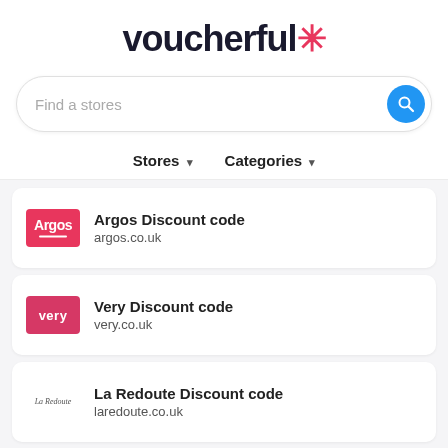voucherful*
Find a stores
Stores ▾   Categories ▾
Argos Discount code
argos.co.uk
Very Discount code
very.co.uk
La Redoute Discount code
laredoute.co.uk
Serenata Flowers Discount code
serenataflowers.com
The Body Shop Discount code
thebodyshop.co.uk